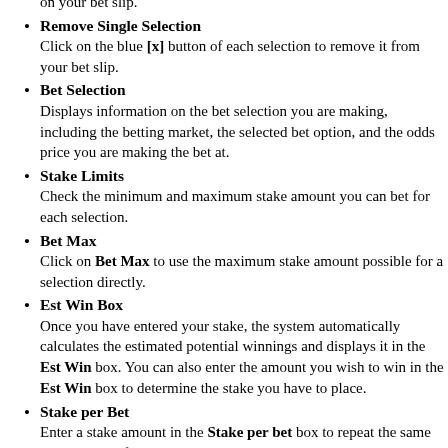on your bet slip.
Remove Single Selection: Click on the blue [x] button of each selection to remove it from your bet slip.
Bet Selection: Displays information on the bet selection you are making, including the betting market, the selected bet option, and the odds price you are making the bet at.
Stake Limits: Check the minimum and maximum stake amount you can bet for each selection.
Bet Max: Click on Bet Max to use the maximum stake amount possible for a selection directly.
Est Win Box: Once you have entered your stake, the system automatically calculates the estimated potential winnings and displays it in the Est Win box. You can also enter the amount you wish to win in the Est Win box to determine the stake you have to place.
Stake per Bet: Enter a stake amount in the Stake per bet box to repeat the same stake amount for all selections on